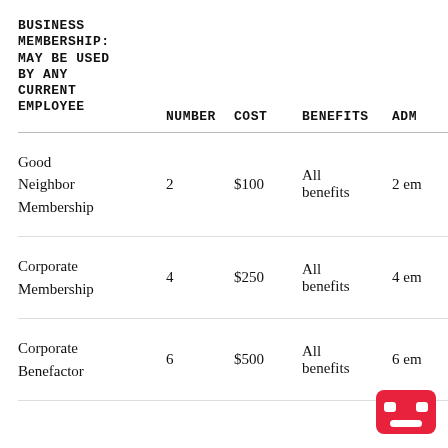| BUSINESS MEMBERSHIP: MAY BE USED BY ANY CURRENT EMPLOYEE | NUMBER | COST | BENEFITS | ADM |
| --- | --- | --- | --- | --- |
| Good Neighbor Membership | 2 | $100 | All benefits | 2 em |
| Corporate Membership | 4 | $250 | All benefits | 4 em |
| Corporate Benefactor | 6 | $500 | All benefits | 6 em |